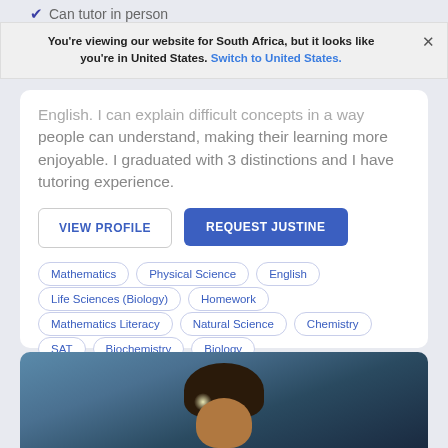Can tutor in person
You're viewing our website for South Africa, but it looks like you're in United States. Switch to United States.
English. I can explain difficult concepts in a way people can understand, making their learning more enjoyable. I graduated with 3 distinctions and I have tutoring experience.
VIEW PROFILE
REQUEST JUSTINE
Mathematics
Physical Science
English
Life Sciences (Biology)
Homework
Mathematics Literacy
Natural Science
Chemistry
SAT
Biochemistry
Biology
[Figure (photo): Photo of a tutor, showing top of head with curly dark hair against a blurred blue background]